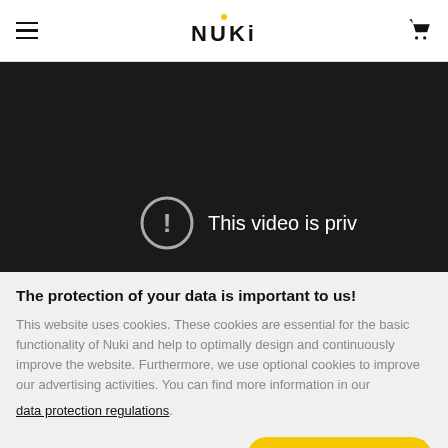NUKI
[Figure (screenshot): Dark video player area showing a privacy error message: exclamation mark in circle followed by 'This video is priv...' text on dark background]
The protection of your data is important to us!
This website uses cookies. These cookies are essential for the basic functionality of Nuki and help to optimally design and continuously improve the website. Furthermore, we use optional cookies to improve our advertising activities. You can find more information in our data protection regulations.
Cookie preferences
ACCEPT ALL COOKIES